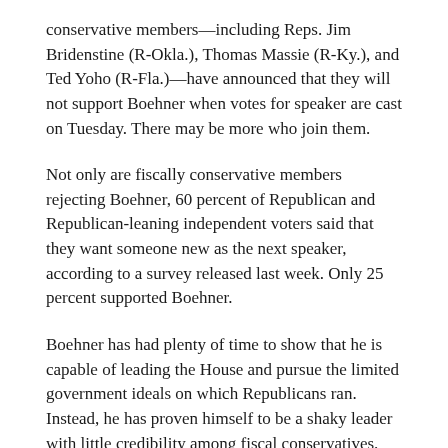conservative members—including Reps. Jim Bridenstine (R-Okla.), Thomas Massie (R-Ky.), and Ted Yoho (R-Fla.)—have announced that they will not support Boehner when votes for speaker are cast on Tuesday. There may be more who join them.
Not only are fiscally conservative members rejecting Boehner, 60 percent of Republican and Republican-leaning independent voters said that they want someone new as the next speaker, according to a survey released last week. Only 25 percent supported Boehner.
Boehner has had plenty of time to show that he is capable of leading the House and pursue the limited government ideals on which Republicans ran. Instead, he has proven himself to be a shaky leader with little credibility among fiscal conservatives.